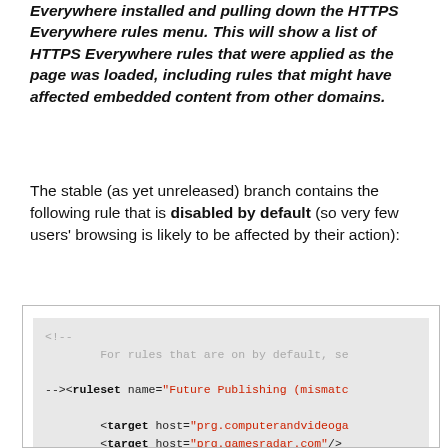Everywhere installed and pulling down the HTTPS Everywhere rules menu. This will show a list of HTTPS Everywhere rules that were applied as the page was loaded, including rules that might have affected embedded content from other domains.
The stable (as yet unreleased) branch contains the following rule that is disabled by default (so very few users' browsing is likely to be affected by their action):
[Figure (screenshot): Code block showing XML ruleset for Future Publishing (mismatch) with target hosts prg.computerandvideogames and prg.gamesradar.com, with a rule element partially visible at the bottom.]